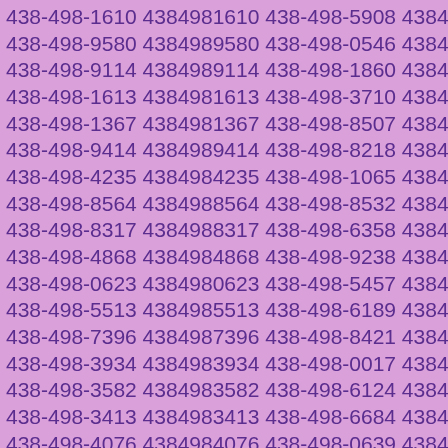438-498-1610 4384981610 438-498-5908 4384985908 438-498-9580 4384989580 438-498-0546 4384980546 438-498-9114 4384989114 438-498-1860 4384981860 438-498-1613 4384981613 438-498-3710 4384983710 438-498-1367 4384981367 438-498-8507 4384988507 438-498-9414 4384989414 438-498-8218 4384988218 438-498-4235 4384984235 438-498-1065 4384981065 438-498-8564 4384988564 438-498-8532 4384988532 438-498-8317 4384988317 438-498-6358 4384986358 438-498-4868 4384984868 438-498-9238 4384989238 438-498-0623 4384980623 438-498-5457 4384985457 438-498-5513 4384985513 438-498-6189 4384986189 438-498-7396 4384987396 438-498-8421 4384988421 438-498-3934 4384983934 438-498-0017 4384980017 438-498-3582 4384983582 438-498-6124 4384986124 438-498-3413 4384983413 438-498-6684 4384986684 438-498-4076 4384984076 438-498-0639 4384980639 438-498-6562 4384986562 438-498-0533 4384980533 438-498-9779 4384989779 438-498-9396 4384989396 438-498-3186 4384983186 438-498-3738 4384983738 438-498-6828 4384986828 438-498-0681 4384980681